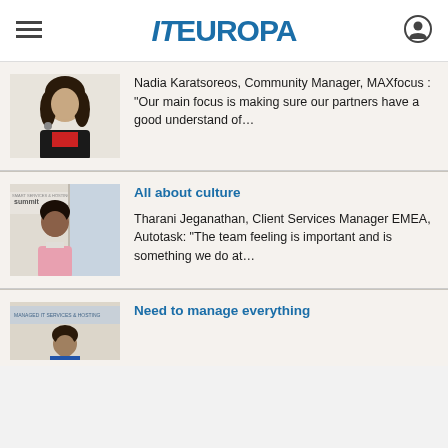IT EUROPA
[Figure (photo): Woman speaking, partial view, first article thumbnail]
Nadia Karatsoreos, Community Manager, MAXfocus : “Our main focus is making sure our partners have a good understand of…
[Figure (photo): Woman speaking at Summit event, second article thumbnail]
All about culture
Tharani Jeganathan, Client Services Manager EMEA, Autotask: “The team feeling is important and is something we do at…
[Figure (photo): Person at conference, third article thumbnail (partial)]
Need to manage everything